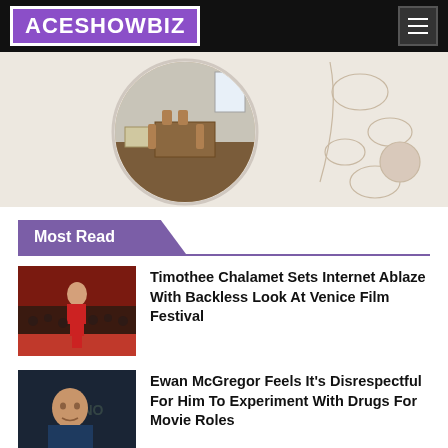ACESHOWBIZ
[Figure (photo): Advertisement banner showing a kitchen/dining room interior in a circular mirror frame with floral line art on a beige background]
Most Read
[Figure (photo): Timothee Chalamet in a red backless outfit at Venice Film Festival red carpet]
Timothee Chalamet Sets Internet Ablaze With Backless Look At Venice Film Festival
[Figure (photo): Ewan McGregor in front of a Obi-Wan Kenobi backdrop]
Ewan McGregor Feels It's Disrespectful For Him To Experiment With Drugs For Movie Roles